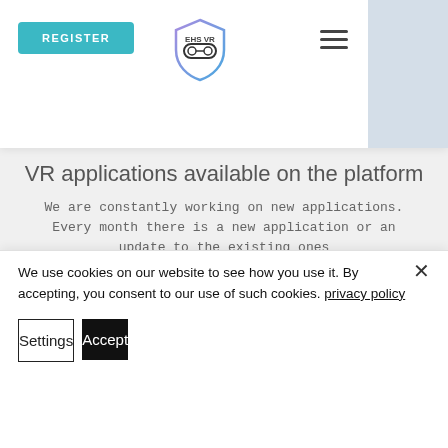[Figure (screenshot): EHS VR website navigation bar with REGISTER button on the left, EHS VR shield logo in the center, and hamburger menu icon on the right. A blue-gray rectangle appears in the top-right corner.]
VR applications available on the platform
We are constantly working on new applications. Every month there is a new application or an update to the existing ones
All apps available for Oculus Quest 1 and Oculus Quest 2
We use cookies on our website to see how you use it. By accepting, you consent to our use of such cookies. privacy policy
Settings
Accept